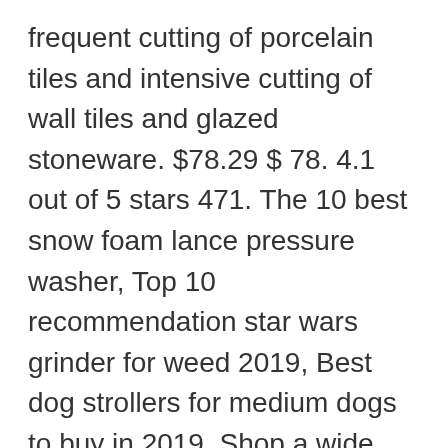frequent cutting of porcelain tiles and intensive cutting of wall tiles and glazed stoneware. $78.29 $ 78. 4.1 out of 5 stars 471. The 10 best snow foam lance pressure washer, Top 10 recommendation star wars grinder for weed 2019, Best dog strollers for medium dogs to buy in 2019. Shop a wide selection of tile cutters and snap tile cutters from Rubi, Ishii, Montolit, Sigma, and more. Instead, our system considers things like how recent a review is and if the reviewer bought the item on Amazon. Les meilleures offres pour Rubi Manual Tile Cutter Ceramic Porcelain Cutting Flooring Tool 36 Inch Blade sont sur eBay Comparez les prix et les spécificités des produits neufs et d'occasion